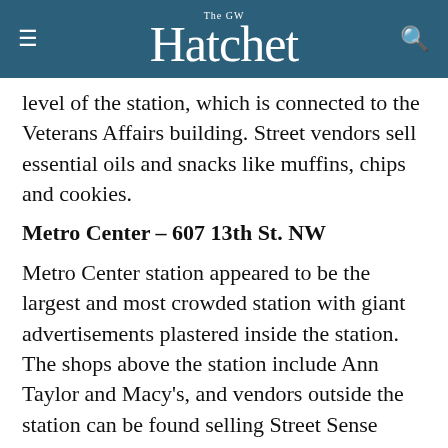The GW Hatchet
level of the station, which is connected to the Veterans Affairs building. Street vendors sell essential oils and snacks like muffins, chips and cookies.
Metro Center – 607 13th St. NW
Metro Center station appeared to be the largest and most crowded station with giant advertisements plastered inside the station. The shops above the station include Ann Taylor and Macy's, and vendors outside the station can be found selling Street Sense newspapers and roses. Casual restaurants like Panera Bread and Au Bon Pain surround the station.